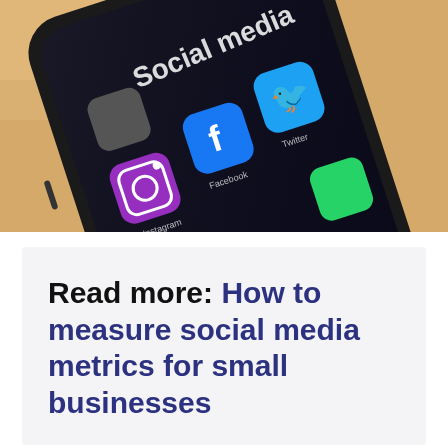[Figure (photo): A smartphone with a dark screen showing social media app icons including Instagram, Facebook, and Twitter, placed on a wooden surface. The screen displays 'Social media' text.]
Read more: How to measure social media metrics for small businesses